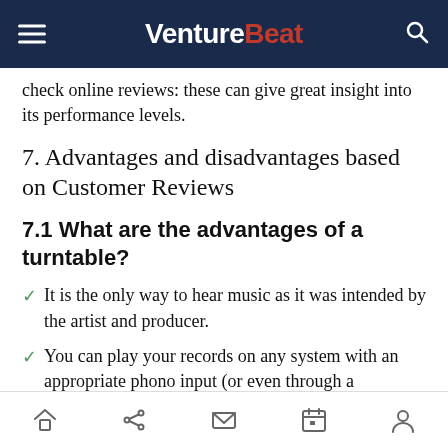VentureBeat
check online reviews: these can give great insight into its performance levels.
7. Advantages and disadvantages based on Customer Reviews
7.1 What are the advantages of a turntable?
It is the only way to hear music as it was intended by the artist and producer.
You can play your records on any system with an appropriate phono input (or even through a computer).
Navigation bar with home, share, mail, calendar, and profile icons